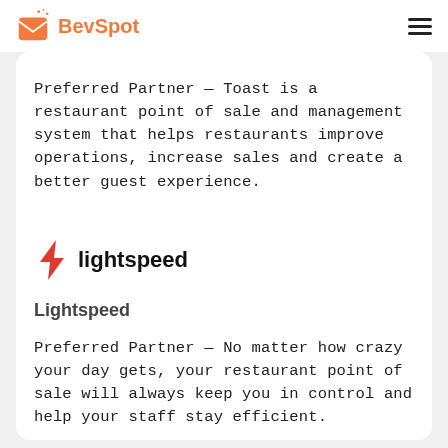BevSpot
Preferred Partner — Toast is a restaurant point of sale and management system that helps restaurants improve operations, increase sales and create a better guest experience.
Learn more →
[Figure (logo): Lightspeed logo — red lightning bolt icon with 'lightspeed' in bold black text]
Lightspeed
Preferred Partner — No matter how crazy your day gets, your restaurant point of sale will always keep you in control and help your staff stay efficient.
Learn more →